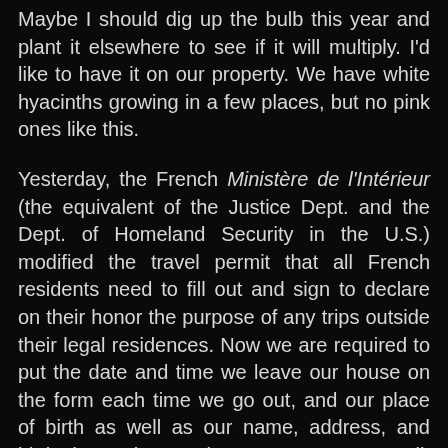Maybe I should dig up the bulb this year and plant it elsewhere to see if it will multiply. I'd like to have it on our property. We have white hyacinths growing in a few places, but no pink ones like this.
Yesterday, the French Ministère de l'Intérieur (the equivalent of the Justice Dept. and the Dept. of Homeland Security in the U.S.) modified the travel permit that all French residents need to fill out and sign to declare on their honor the purpose of any trips outside their legal residences. Now we are required to put the date and time we leave our house on the form each time we go out, and our place of birth as well as our name, address, and birth date. I haven't been out except to walk the dog in 12 days at this point.
Also yesterday, the news channels were saying that we in France will in all likelihood remain under a stay-at-home order (confinement généralisé) until about April 28. Walt is going to go out to the pharmacy tomorrow, and then he'll drive up to SuperU to pick up a hundred euros worth of groceries that we have ordered and paid for on line. He won't need to go inside the store itself. Supermarket employees